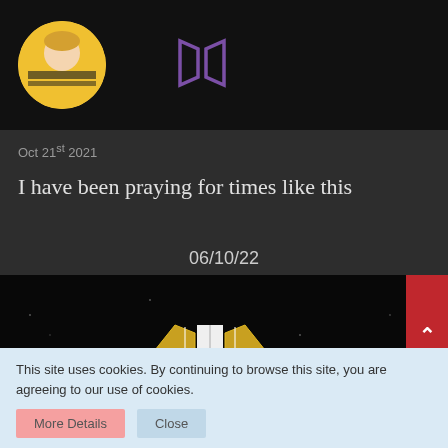[Figure (photo): Dark banner image showing a person in yellow and black striped sweater in a circular avatar on the left, and a purple BTS logo in the center-right area, on a black background.]
Oct 21st 2021
I have been praying for times like this
06/10/22
[Figure (logo): Black background image with a gold and white BTS logo in the center and text 'WE ARE BULLETPROOF' below it.]
This site uses cookies. By continuing to browse this site, you are agreeing to our use of cookies.